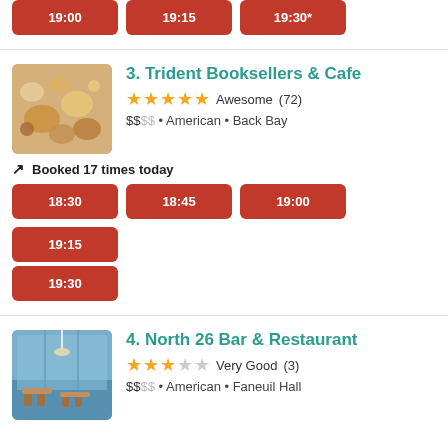19:00  19:15  19:30*
3. Trident Booksellers & Cafe — Awesome (72) — $$SS — American — Back Bay — Booked 17 times today — 18:30, 18:45, 19:00, 19:15, 19:30
4. North 26 Bar & Restaurant — Very Good (3) — $$SS — American — Faneuil Hall